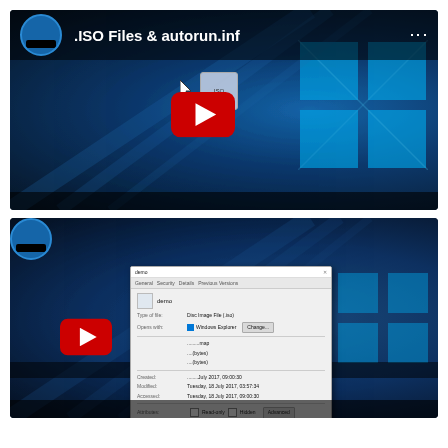[Figure (screenshot): YouTube video thumbnail showing '.ISO Files & autorun.inf' with Windows 10 desktop background, red YouTube play button, cursor, and ISO file icon]
[Figure (screenshot): YouTube video thumbnail showing '.ISO Files With Zone.Identifier' with Windows 10 desktop background, red YouTube play button, and a Windows file properties dialog overlaid]